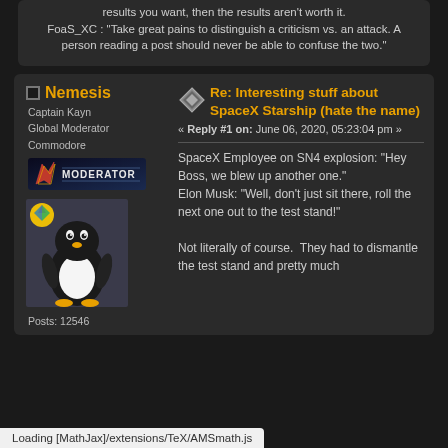results you want, then the results aren't worth it.
FoaS_XC : "Take great pains to distinguish a criticism vs. an attack. A person reading a post should never be able to confuse the two."
Nemesis
Captain Kayn
Global Moderator
Commodore
[Figure (logo): Moderator badge with Star Trek insignia and MODERATOR text]
[Figure (photo): Avatar image of Tux the Linux penguin with colorful logo]
Posts: 12546
Re: Interesting stuff about SpaceX Starship (hate the name)
« Reply #1 on: June 06, 2020, 05:23:04 pm »
SpaceX Employee on SN4 explosion: "Hey Boss, we blew up another one."
Elon Musk: "Well, don't just sit there, roll the next one out to the test stand!"

Not literally of course.  They had to dismantle the test stand and pretty much
Loading [MathJax]/extensions/TeX/AMSmath.js